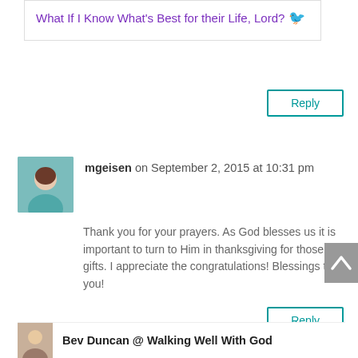What If I Know What’s Best for their Life, Lord? 🐦
Reply
mgeisen on September 2, 2015 at 10:31 pm
Thank you for your prayers. As God blesses us it is important to turn to Him in thanksgiving for those gifts. I appreciate the congratulations! Blessings to you!
Reply
Bev Duncan @ Walking Well With God